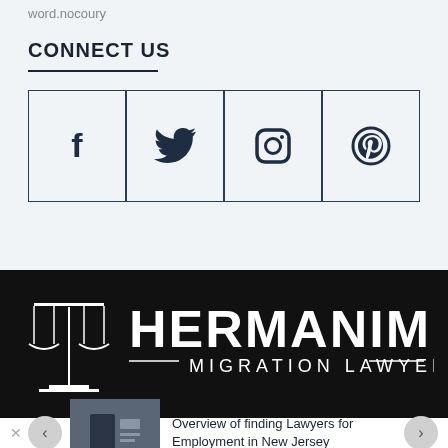word.nocoury
CONNECT US
[Figure (infographic): Four social media icon boxes in a row: Facebook (f), Twitter (bird), Instagram (camera), Pinterest (P circle)]
[Figure (logo): Hermanim Migration Lawyer logo — scales of justice icon and white text on black background]
Overview of finding Lawyers for Employment in New Jersey